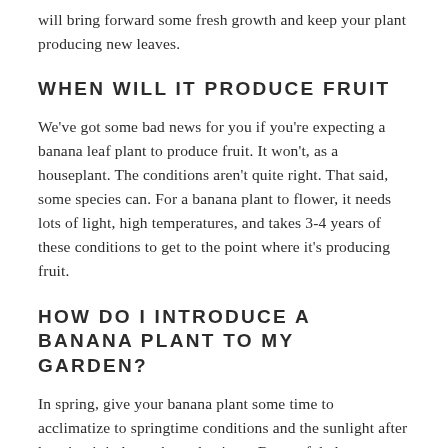will bring forward some fresh growth and keep your plant producing new leaves.
WHEN WILL IT PRODUCE FRUIT
We've got some bad news for you if you're expecting a banana leaf plant to produce fruit. It won't, as a houseplant. The conditions aren't quite right. That said, some species can. For a banana plant to flower, it needs lots of light, high temperatures, and takes 3-4 years of these conditions to get to the point where it's producing fruit.
HOW DO I INTRODUCE A BANANA PLANT TO MY GARDEN?
In spring, give your banana plant some time to acclimatize to springtime conditions and the sunlight after keeping it indoors through winter. Be careful also not to scorch the leaves which is